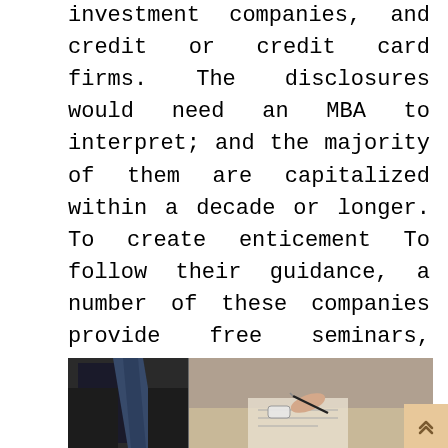investment companies, and credit or credit card firms. The disclosures would need an MBA to interpret; and the majority of them are capitalized within a decade or longer. To create enticement To follow their guidance, a number of these companies provide free seminars, dinners, or brochures to gain your confidence and access to your wallet. Given all the frequently conflicting and obtuse info, how can the average businessman or woman decide on the most profitable ways to invest money in today's business marketplace?
[Figure (photo): Two businesspeople photo: left side shows a man in a suit with a tie, right side shows hands with a pen signing or reviewing documents.]